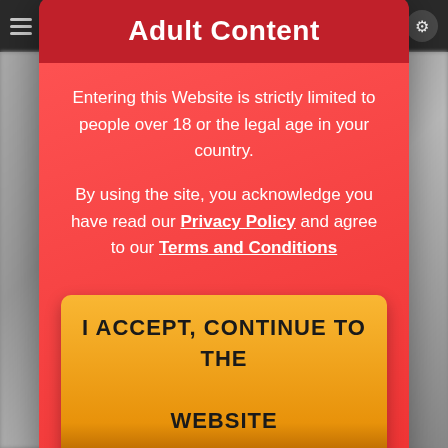[Figure (screenshot): Website navigation bar with hamburger menu on left and icons (heart, search, settings) on right, dark background.]
Adult Content
Entering this Website is strictly limited to people over 18 or the legal age in your country.
By using the site, you acknowledge you have read our Privacy Policy and agree to our Terms and Conditions
I ACCEPT, CONTINUE TO THE WEBSITE